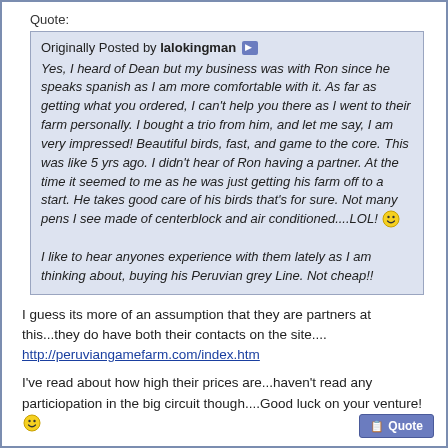Quote:
Originally Posted by lalokingman
Yes, I heard of Dean but my business was with Ron since he speaks spanish as I am more comfortable with it. As far as getting what you ordered, I can't help you there as I went to their farm personally. I bought a trio from him, and let me say, I am very impressed! Beautiful birds, fast, and game to the core. This was like 5 yrs ago. I didn't hear of Ron having a partner. At the time it seemed to me as he was just getting his farm off to a start. He takes good care of his birds that's for sure. Not many pens I see made of centerblock and air conditioned....LOL! 
I like to hear anyones experience with them lately as I am thinking about, buying his Peruvian grey Line. Not cheap!!
I guess its more of an assumption that they are partners at this...they do have both their contacts on the site....
http://peruviangamefarm.com/index.htm
I've read about how high their prices are...haven't read any particiopation in the big circuit though....Good luck on your venture!